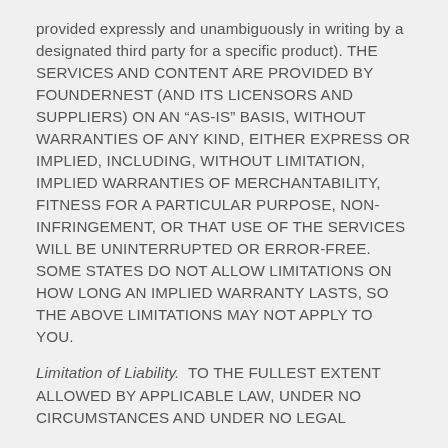provided expressly and unambiguously in writing by a designated third party for a specific product).  THE SERVICES AND CONTENT ARE PROVIDED BY FOUNDERNEST (AND ITS LICENSORS AND SUPPLIERS) ON AN “AS-IS” BASIS, WITHOUT WARRANTIES OF ANY KIND, EITHER EXPRESS OR IMPLIED, INCLUDING, WITHOUT LIMITATION, IMPLIED WARRANTIES OF MERCHANTABILITY, FITNESS FOR A PARTICULAR PURPOSE, NON-INFRINGEMENT, OR THAT USE OF THE SERVICES WILL BE UNINTERRUPTED OR ERROR-FREE. SOME STATES DO NOT ALLOW LIMITATIONS ON HOW LONG AN IMPLIED WARRANTY LASTS, SO THE ABOVE LIMITATIONS MAY NOT APPLY TO YOU.
Limitation of Liability.  TO THE FULLEST EXTENT ALLOWED BY APPLICABLE LAW, UNDER NO CIRCUMSTANCES AND UNDER NO LEGAL